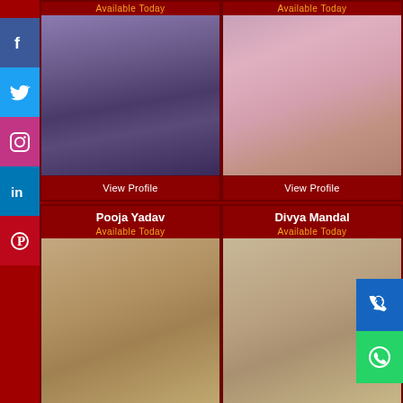[Figure (photo): Social media sidebar with Facebook, Twitter, Instagram, LinkedIn, Pinterest icons on left side]
Available Today
[Figure (photo): Young woman in blue top - profile card photo]
View Profile
Available Today
[Figure (photo): Young woman in pink dress - profile card photo]
View Profile
[Figure (photo): Phone and WhatsApp contact icons on right side]
Pooja Yadav
Available Today
[Figure (photo): Young woman in tan/natural setting - Pooja Yadav profile photo]
Divya Mandal
Available Today
[Figure (photo): Young woman in room setting - Divya Mandal profile photo]